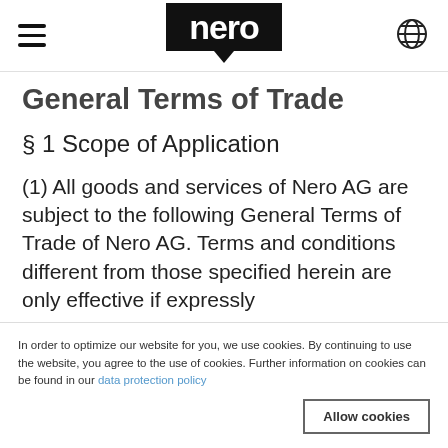[Figure (logo): Nero logo in black box with speech-bubble tail, hamburger menu icon on left, globe/language icon on right]
General Terms of Trade
§ 1 Scope of Application
(1) All goods and services of Nero AG are subject to the following General Terms of Trade of Nero AG. Terms and conditions different from those specified herein are only effective if expressly
(2) These General Terms of Trade also apply to future business relations, even
In order to optimize our website for you, we use cookies. By continuing to use the website, you agree to the use of cookies. Further information on cookies can be found in our data protection policy
Allow cookies